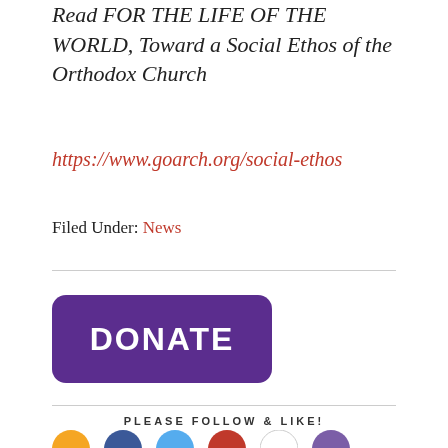Read FOR THE LIFE OF THE WORLD, Toward a Social Ethos of the Orthodox Church
https://www.goarch.org/social-ethos
Filed Under: News
[Figure (other): Purple DONATE button with rounded corners]
PLEASE FOLLOW & LIKE!
[Figure (other): Row of social media icon circles at the bottom of the page]